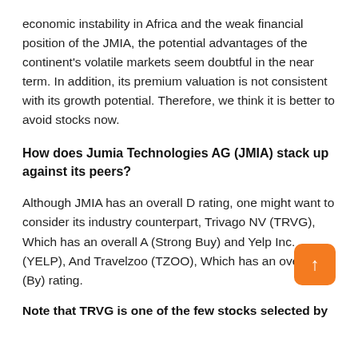economic instability in Africa and the weak financial position of the JMIA, the potential advantages of the continent's volatile markets seem doubtful in the near term. In addition, its premium valuation is not consistent with its growth potential. Therefore, we think it is better to avoid stocks now.
How does Jumia Technologies AG (JMIA) stack up against its peers?
Although JMIA has an overall D rating, one might want to consider its industry counterpart, Trivago NV (TRVG), Which has an overall A (Strong Buy) and Yelp Inc. (YELP), And Travelzoo (TZOO), Which has an overall B (By) rating.
Note that TRVG is one of the few stocks selected by